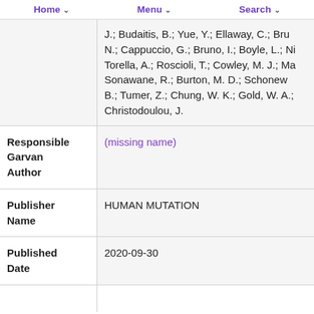Home   Menu   Search
| Field | Value |
| --- | --- |
|  | J.; Budaitis, B.; Yue, Y.; Ellaway, C.; Brun N.; Cappuccio, G.; Bruno, I.; Boyle, L.; Ni Torella, A.; Roscioli, T.; Cowley, M. J.; Ma Sonawane, R.; Burton, M. D.; Schonewo B.; Tumer, Z.; Chung, W. K.; Gold, W. A.; Christodoulou, J. |
| Responsible Garvan Author | (missing name) |
| Publisher Name | HUMAN MUTATION |
| Published Date | 2020-09-30 |